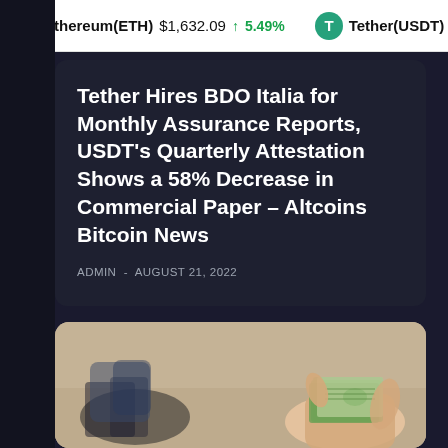Ethereum(ETH) $1,632.09 ↑ 5.49%   Tether(USDT) $1.00 ↑
Tether Hires BDO Italia for Monthly Assurance Reports, USDT's Quarterly Attestation Shows a 58% Decrease in Commercial Paper – Altcoins Bitcoin News
ADMIN - AUGUST 21, 2022
[Figure (photo): Blurred background photo showing person's feet/legs and a hand holding a stack of US dollar bills]